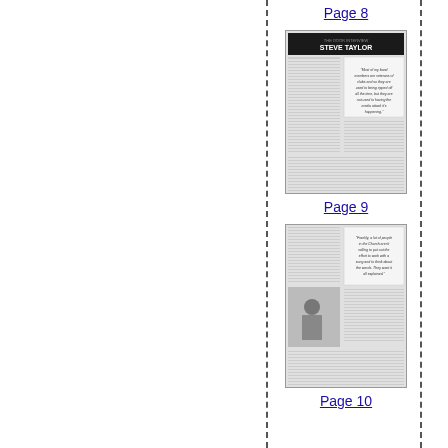Page 8
[Figure (screenshot): Thumbnail of a magazine page titled 'THE DOOR INTERVIEW STEVE TAYLOR' with columns of text and a pull quote reading 'Most of my band members are veterans of clubs and so they are used to being ripped off all the time, but they are not used to having the media attack it's happening.']
Page 9
[Figure (screenshot): Thumbnail of a magazine page with a pull quote reading 'Frankly, a lot of people in the Church aren't willing to put out the effort to work with a song and to think about the words. They want it all explained.' with a photo of a person at the bottom left.]
Page 10